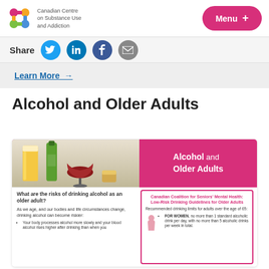Canadian Centre on Substance Use and Addiction | Menu +
Share
Learn More →
Alcohol and Older Adults
[Figure (infographic): Infographic titled 'Alcohol and Older Adults' with images of beer, wine bottle, wine glass, and whiskey glass. Contains section 'What are the risks of drinking alcohol as an older adult?' with body text 'As we age, and our bodies and life circumstances change, drinking alcohol can become riskier: Your body processes alcohol more slowly and your blood alcohol rises higher after drinking than when you...' and sidebar 'Canadian Coalition for Seniors Mental Health: Low-Risk Drinking Guidelines for Older Adults. Recommended drinking limits for adults over the age of 65: FOR WOMEN, no more than 1 standard alcoholic drink per day, with no more than 5 alcoholic drinks per week in total.']